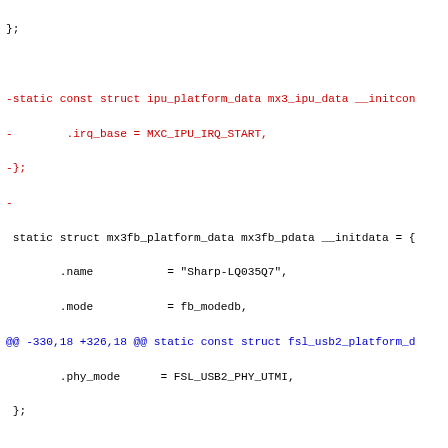diff/patch code showing changes to Linux kernel platform data structures
-static const struct ipu_platform_data mx3_ipu_data __initcon
-        .irq_base = MXC_IPU_IRQ_START,
-};
-
 static struct mx3fb_platform_data mx3fb_pdata __initdata = {
        .name           = "Sharp-LQ035Q7",
        .mode           = fb_modedb,
@@ -330,18 +326,18 @@ static const struct fsl_usb2_platform_d
        .phy_mode      = FSL_USB2_PHY_UTMI,
 };

-static int otg_mode_host;
+static bool otg_mode_host __initdata;

 static int __init pcm043_otg_mode(char *options)
 {
        if (!strcmp(options, "host"))
-                otg_mode_host = 1;
+                otg_mode_host = true;
        else if (!strcmp(options, "device"))
-                otg_mode_host = 0;
+                otg_mode_host = false;
        else
                pr_info("otg_mode_neither )"host)" nor )"devi